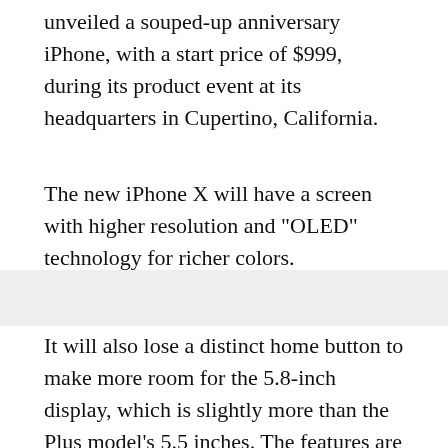unveiled a souped-up anniversary iPhone, with a start price of $999, during its product event at its headquarters in Cupertino, California.
The new iPhone X will have a screen with higher resolution and "OLED" technology for richer colors.
It will also lose a distinct home button to make more room for the 5.8-inch display, which is slightly more than the Plus model's 5.5 inches. The features are similar to what Samsung offers.
The new design will enable new ways to interact with the phone. Instead of pressing the button to get the home page, you swipe up instead.